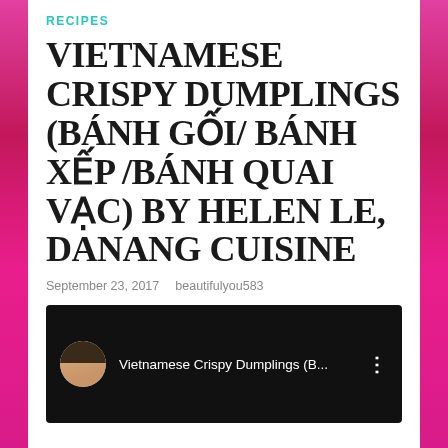RECIPES
VIETNAMESE CRISPY DUMPLINGS (BÁNH GỐI/ BÁNH XẾP /BÁNH QUAI VẠC) BY HELEN LE, DANANG CUISINE
September 23, 2017   beautifulyou583
[Figure (screenshot): YouTube video thumbnail showing a woman's avatar (profile photo) on a dark/black background with the video title 'Vietnamese Crispy Dumplings (B...' and a three-dot menu icon]